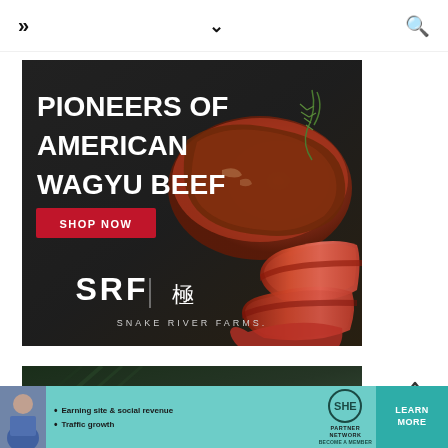>> navigation | chevron | search
[Figure (photo): Snake River Farms advertisement: 'PIONEERS OF AMERICAN WAGYU BEEF' with SHOP NOW button on dark background with steak photo. SRF logo with kanji character and SNAKE RIVER FARMS text.]
[Figure (photo): Neato robot vacuum advertisement: neato logo on dark green plant background with 'NEW FOR 2021' text.]
[Figure (other): SHE Partner Network banner ad: Earning site & social revenue, Traffic growth, with LEARN MORE CTA button.]